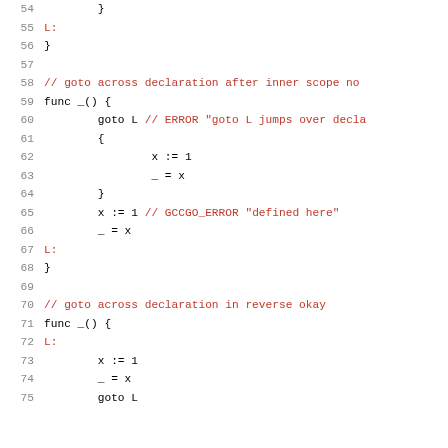Code listing lines 54–75 showing Go goto statement examples with error annotations